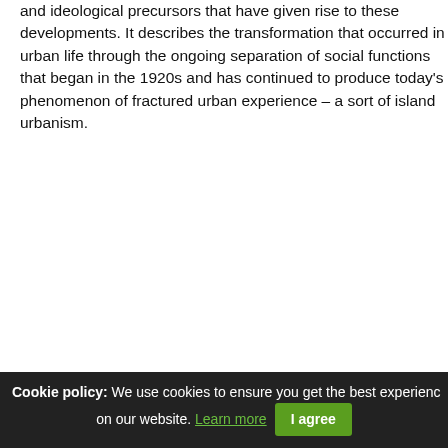and ideological precursors that have given rise to these developments. It describes the transformation that occurred in urban life through the ongoing separation of social functions that began in the 1920s and has continued to produce today's phenomenon of fractured urban experience – a sort of island urbanism.
[Figure (illustration): Book cover for 'The Putin System: An Opposing View' by Grigory Yavlinsky. Dark/black background with white bold text for 'PUTIN SYSTEM' and red text for 'OPPOSING VIEW'.]
Cookie policy: We use cookies to ensure you get the best experience on our website. Learn more | I agree